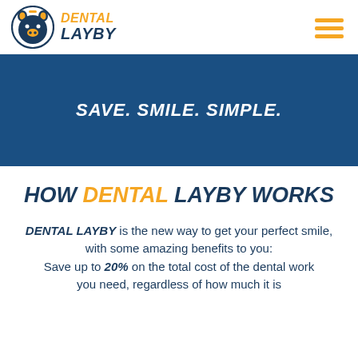[Figure (logo): Dental Layby logo: pig face icon in dark blue with gold/orange coloring, next to text DENTAL LAYBY in orange and dark blue bold italic fonts]
[Figure (other): Hamburger menu icon with three orange horizontal lines]
SAVE. SMILE. SIMPLE.
HOW DENTAL LAYBY WORKS
DENTAL LAYBY is the new way to get your perfect smile, with some amazing benefits to you: Save up to 20% on the total cost of the dental work you need, regardless of how much it is